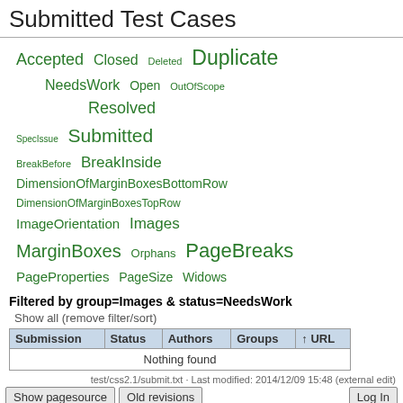Submitted Test Cases
[Figure (infographic): Tag cloud showing test case statuses and groups in green text at varying font sizes. Status tags: Accepted, Closed, Deleted, Duplicate, NeedsWork, Open, OutOfScope, Resolved, SpecIssue, Submitted. Group tags: BreakBefore, BreakInside, DimensionOfMarginBoxesBottomRow, DimensionOfMarginBoxesTopRow, ImageOrientation, Images, MarginBoxes, Orphans, PageBreaks, PageProperties, PageSize, Widows.]
Filtered by group=Images & status=NeedsWork
Show all (remove filter/sort)
| Submission | Status | Authors | Groups | ↑ URL |
| --- | --- | --- | --- | --- |
| Nothing found |  |  |  |  |
test/css2.1/submit.txt · Last modified: 2014/12/09 15:48 (external edit)
Show pagesource   Old revisions   Log In
[Figure (infographic): Footer badge bar with RSS XML FEED, W3C XHTML 1.0, W3C CSS, and DokuWiki badges.]